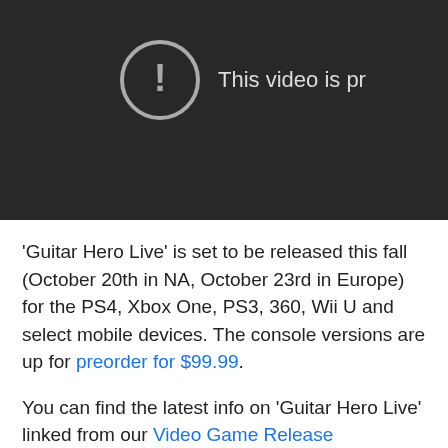[Figure (screenshot): Dark video player with a private video error icon (exclamation mark in a circle) and partial text 'This video is pr...']
'Guitar Hero Live' is set to be released this fall (October 20th in NA, October 23rd in Europe) for the PS4, Xbox One, PS3, 360, Wii U and select mobile devices. The console versions are up for preorder for $99.99.
You can find the latest info on 'Guitar Hero Live' linked from our Video Game Release Schedule...